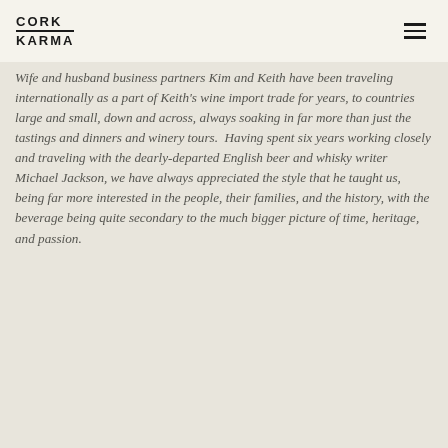Cork Karma
Wife and husband business partners Kim and Keith have been traveling internationally as a part of Keith's wine import trade for years, to countries large and small, down and across, always soaking in far more than just the tastings and dinners and winery tours. Having spent six years working closely and traveling with the dearly-departed English beer and whisky writer Michael Jackson, we have always appreciated the style that he taught us, being far more interested in the people, their families, and the history, with the beverage being quite secondary to the much bigger picture of time, heritage, and passion.